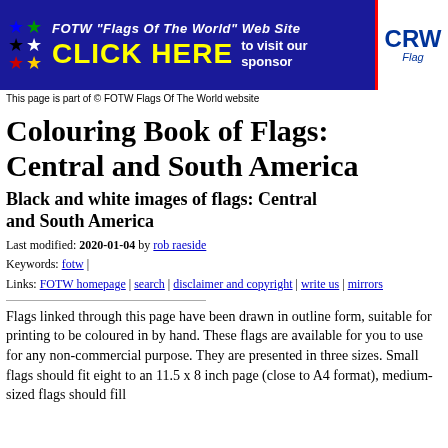[Figure (other): FOTW Flags Of The World banner advertisement with stars, CLICK HERE text, and CRW logo on right]
This page is part of © FOTW Flags Of The World website
Colouring Book of Flags: Central and South America
Black and white images of flags: Central and South America
Last modified: 2020-01-04 by rob raeside
Keywords: fotw |
Links: FOTW homepage | search | disclaimer and copyright | write us | mirrors
Flags linked through this page have been drawn in outline form, suitable for printing to be coloured in by hand. These flags are available for you to use for any non-commercial purpose. They are presented in three sizes. Small flags should fit eight to an 11.5 x 8 inch page (close to A4 format), medium-sized flags should fill